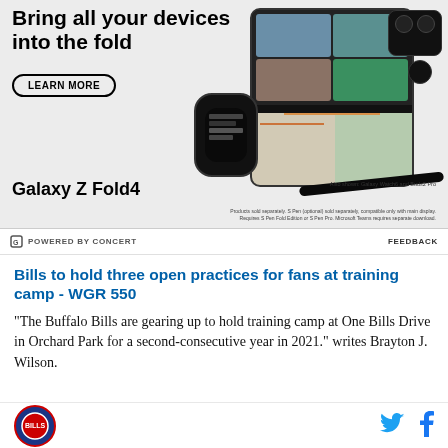[Figure (illustration): Samsung Galaxy Z Fold4 advertisement banner showing 'Bring all your devices into the fold' with a Learn More button, images of Samsung Galaxy Z Fold4, Galaxy Watch6, Buds2 Pro, and S Pen]
POWERED BY CONCERT
FEEDBACK
Bills to hold three open practices for fans at training camp - WGR 550
“The Buffalo Bills are gearing up to hold training camp at One Bills Drive in Orchard Park for a second-consecutive year in 2021.” writes Brayton J. Wilson.
[Figure (logo): Buffalo Bills circular team logo]
[Figure (logo): Twitter bird icon (blue)]
[Figure (logo): Facebook f icon (blue)]